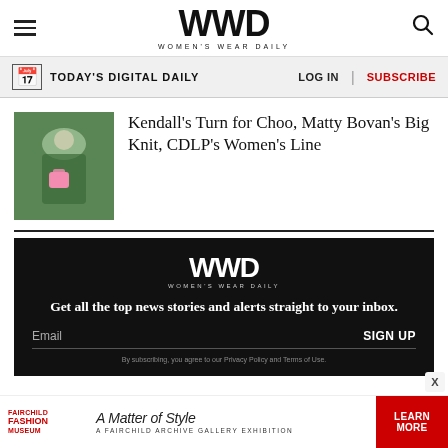WWD — Women's Wear Daily
TODAY'S DIGITAL DAILY | LOG IN | SUBSCRIBE
Kendall's Turn for Choo, Matty Bovan's Big Knit, CDLP's Women's Line
[Figure (infographic): WWD newsletter signup block: WWD logo, text 'Get all the top news stories and alerts straight to your inbox.', email field with SIGN UP button, privacy notice]
[Figure (infographic): Fairchild Fashion Museum advertisement: 'A Matter of Style — A Fairchild Archive Gallery Exhibition' with LEARN MORE button]